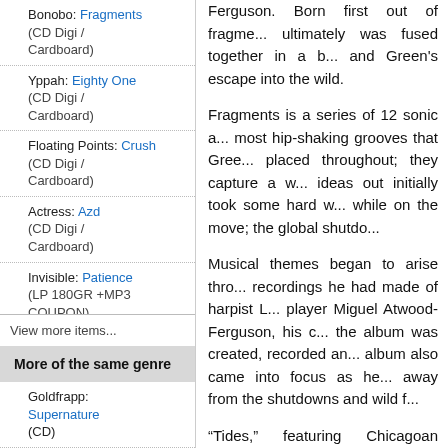Bonobo: Fragments (CD Digi / Cardboard)
Yppah: Eighty One (CD Digi / Cardboard)
Floating Points: Crush (CD Digi / Cardboard)
Actress: Azd (CD Digi / Cardboard)
Invisible: Patience (LP 180GR +MP3 COUPON)
View more items...
More of the same genre
Goldfrapp: Supernature (CD)
Ferguson. Born first out of fragments, ultimately was fused together in a b... and Green's escape into the wild.
Fragments is a series of 12 sonic a... most hip-shaking grooves that Gree... placed throughout; they capture a w... ideas out initially took some hard w... while on the move; the global shutdo...
Musical themes began to arise thro... recordings he had made of harpist L... player Miguel Atwood-Ferguson, his c... the album was created, recorded an... album also came into focus as he... away from the shutdowns and wild f...
“Tides,” featuring Chicagoan singer... and the album began to click into... knew how it was all going to soun...